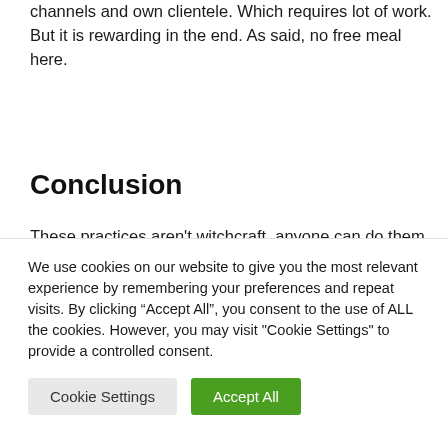channels and own clientele. Which requires lot of work. But it is rewarding in the end. As said, no free meal here.
Conclusion
These practices aren't witchcraft, anyone can do them. Scammers usually cannot dodge these because they don't expect you to actually
We use cookies on our website to give you the most relevant experience by remembering your preferences and repeat visits. By clicking "Accept All", you consent to the use of ALL the cookies. However, you may visit "Cookie Settings" to provide a controlled consent.